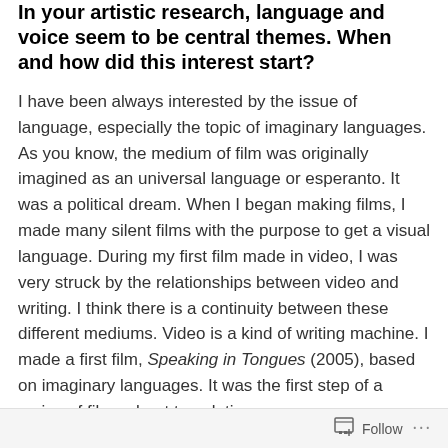In your artistic research, language and voice seem to be central themes. When and how did this interest start?
I have been always interested by the issue of language, especially the topic of imaginary languages. As you know, the medium of film was originally imagined as an universal language or esperanto. It was a political dream. When I began making films, I made many silent films with the purpose to get a visual language. During my first film made in video, I was very struck by the relationships between video and writing. I think there is a continuity between these different mediums. Video is a kind of writing machine. I made a first film, Speaking in Tongues (2005), based on imaginary languages. It was the first step of a series of films about translation.
Follow